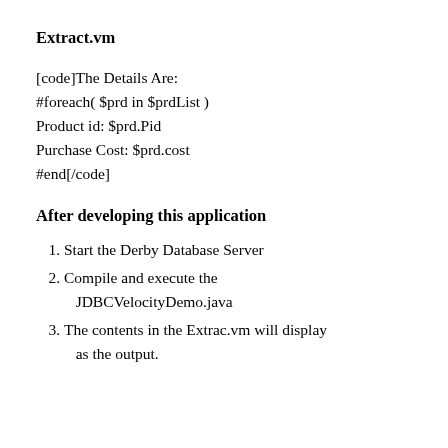Extract.vm
[code]The Details Are:
#foreach( $prd in $prdList )
Product id: $prd.Pid
Purchase Cost: $prd.cost
#end[/code]
After developing this application
Start the Derby Database Server
Compile and execute the JDBCVelocityDemo.java
The contents in the Extrac.vm will display as the output.